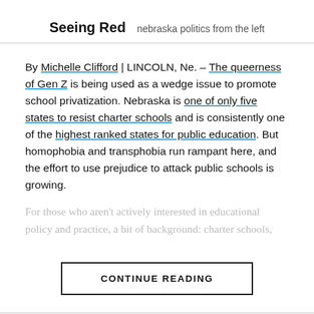Seeing Red  nebraska politics from the left
By Michelle Clifford | LINCOLN, Ne. – The queerness of Gen Z is being used as a wedge issue to promote school privatization. Nebraska is one of only five states to resist charter schools and is consistently one of the highest ranked states for public education. But homophobia and transphobia run rampant here, and the effort to use prejudice to attack public schools is growing.
For those who aren't actively interested in educational policy and practice, a bit of background: charter schools,
CONTINUE READING